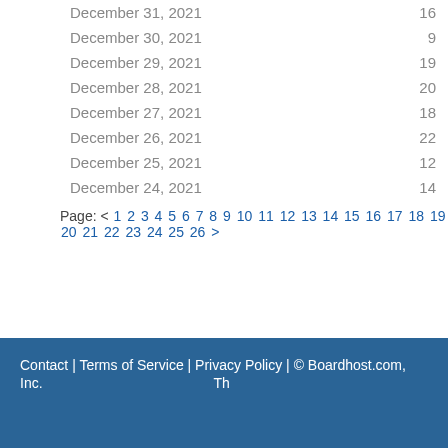| Date | Count |
| --- | --- |
| December 31, 2021 | 16 |
| December 30, 2021 | 9 |
| December 29, 2021 | 19 |
| December 28, 2021 | 20 |
| December 27, 2021 | 18 |
| December 26, 2021 | 22 |
| December 25, 2021 | 12 |
| December 24, 2021 | 14 |
Page: < 1 2 3 4 5 6 7 8 9 10 11 12 13 14 15 16 17 18 19 20 21 22 23 24 25 26 >
Contact | Terms of Service | Privacy Policy | © Boardhost.com, Inc. Th